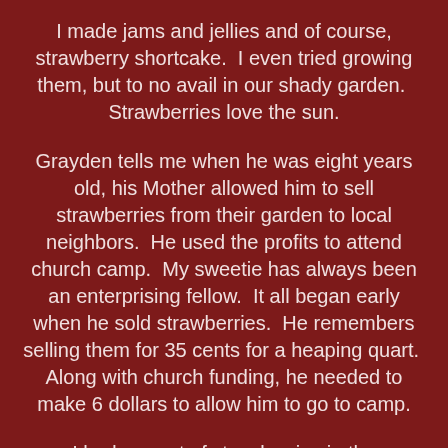I made jams and jellies and of course, strawberry shortcake.  I even tried growing them, but to no avail in our shady garden.  Strawberries love the sun.
Grayden tells me when he was eight years old, his Mother allowed him to sell strawberries from their garden to local neighbors.  He used the profits to attend church camp.  My sweetie has always been an enterprising fellow.  It all began early when he sold strawberries.  He remembers selling them for 35 cents for a heaping quart.  Along with church funding, he needed to make 6 dollars to allow him to go to camp.
I had a quart of strawberries in the refrigerator that were calling for a different dessert.  I've seen Strawberry Fool referred to in many magazines and online sites.  A Fool is an English dessert that has pureed fruit folded into a custard or whipped cream.